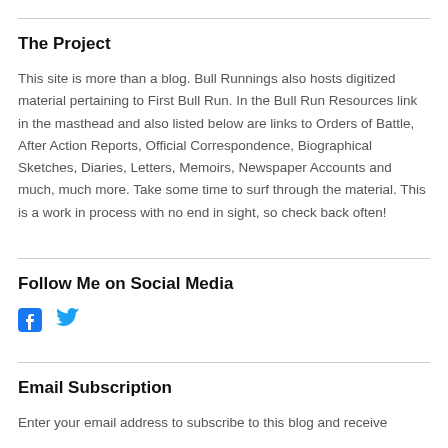The Project
This site is more than a blog. Bull Runnings also hosts digitized material pertaining to First Bull Run. In the Bull Run Resources link in the masthead and also listed below are links to Orders of Battle, After Action Reports, Official Correspondence, Biographical Sketches, Diaries, Letters, Memoirs, Newspaper Accounts and much, much more. Take some time to surf through the material. This is a work in process with no end in sight, so check back often!
Follow Me on Social Media
[Figure (other): Facebook and Twitter social media icons]
Email Subscription
Enter your email address to subscribe to this blog and receive